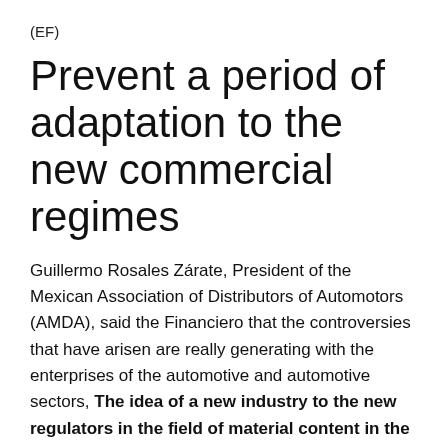(EF)
Prevent a period of adaptation to the new commercial regimes
Guillermo Rosales Zárate, President of the Mexican Association of Distributors of Automotors (AMDA), said the Financiero that the controversies that have arisen are really generating with the enterprises of the automotive and automotive sectors, The idea of a new industry to the new regulators in the field of material content in the T-MEC.